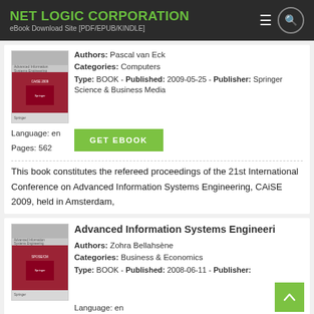NET LOGIC CORPORATION
eBook Download Site [PDF/EPUB/KINDLE]
Authors: Pascal van Eck
Categories: Computers
Type: BOOK - Published: 2009-05-25 - Publisher: Springer Science & Business Media
Language: en
Pages: 562
GET EBOOK
This book constitutes the refereed proceedings of the 21st International Conference on Advanced Information Systems Engineering, CAiSE 2009, held in Amsterdam,
Advanced Information Systems Engineeri
Authors: Zohra Bellahsène
Categories: Business & Economics
Type: BOOK - Published: 2008-06-11 - Publisher:
Language: en